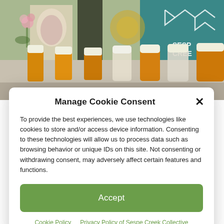[Figure (photo): Photo of rows of orange and clear prescription medicine bottles in a pharmacy, with colorful background signage including partial text 'SESP CREE']
Manage Cookie Consent
To provide the best experiences, we use technologies like cookies to store and/or access device information. Consenting to these technologies will allow us to process data such as browsing behavior or unique IDs on this site. Not consenting or withdrawing consent, may adversely affect certain features and functions.
Accept
Cookie Policy | Privacy Policy of Sespe Creek Collective